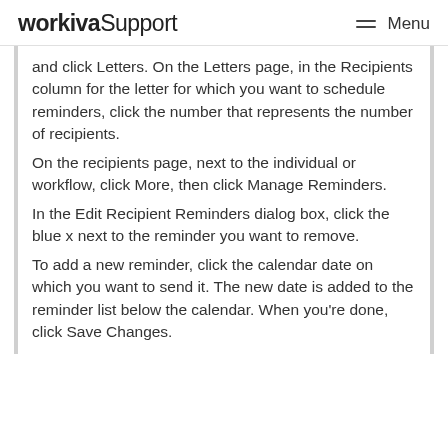workiva Support  Menu
and click Letters. On the Letters page, in the Recipients column for the letter for which you want to schedule reminders, click the number that represents the number of recipients. On the recipients page, next to the individual or workflow, click More, then click Manage Reminders. In the Edit Recipient Reminders dialog box, click the blue x next to the reminder you want to remove. To add a new reminder, click the calendar date on which you want to send it. The new date is added to the reminder list below the calendar. When you're done, click Save Changes.